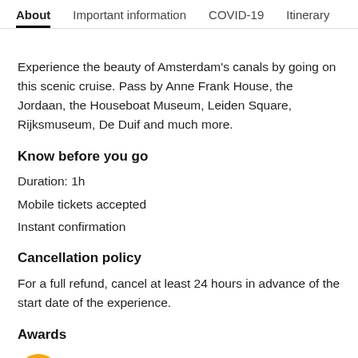About | Important information | COVID-19 | Itinerary
Experience the beauty of Amsterdam’s canals by going on this scenic cruise. Pass by Anne Frank House, the Jordaan, the Houseboat Museum, Leiden Square, Rijksmuseum, De Duif and much more.
Know before you go
Duration: 1h
Mobile tickets accepted
Instant confirmation
Cancellation policy
For a full refund, cancel at least 24 hours in advance of the start date of the experience.
Awards
Travellers’ Choice Best of the Best